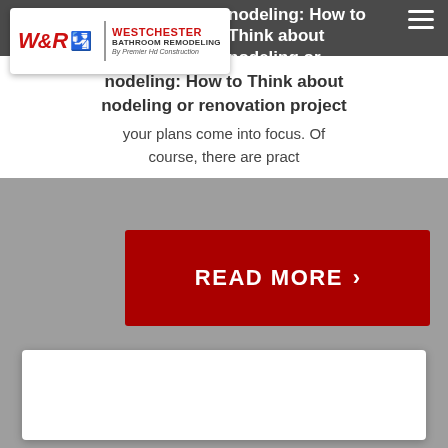Westchester Bathroom Remodeling - By Premier Hd Construction
odeling: How to Think about odeling or renovation project
your plans come into focus. Of course, there are pract
READ MORE >
[Figure (other): White card/placeholder area at bottom of page]